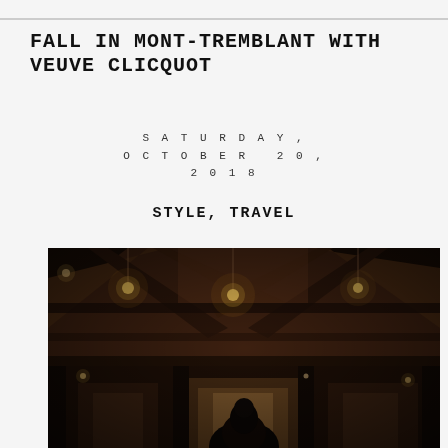FALL IN MONT-TREMBLANT WITH VEUVE CLICQUOT
SATURDAY, OCTOBER 20, 2018
STYLE, TRAVEL
[Figure (photo): Interior of a rustic barn or lodge with dark wooden beam ceiling, string lights hanging from the rafters, and a figure visible at the bottom center in dark clothing. The image has warm, moody tones.]